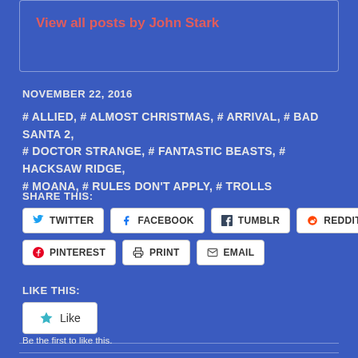View all posts by John Stark
NOVEMBER 22, 2016
# ALLIED, # ALMOST CHRISTMAS, # ARRIVAL, # BAD SANTA 2, # DOCTOR STRANGE, # FANTASTIC BEASTS, # HACKSAW RIDGE, # MOANA, # RULES DON'T APPLY, # TROLLS
SHARE THIS:
TWITTER FACEBOOK TUMBLR REDDIT PINTEREST PRINT EMAIL
LIKE THIS:
Like
Be the first to like this.